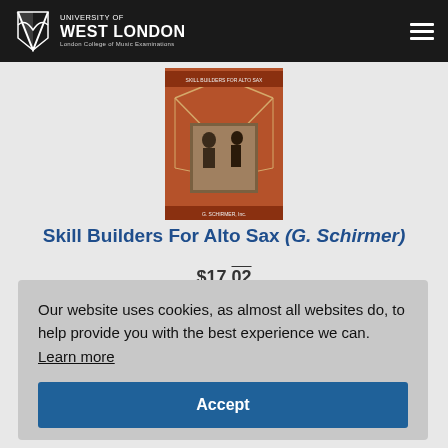University of West London — London College of Music Examinations
[Figure (photo): Book cover for Skill Builders For Alto Sax published by G. Schirmer, orange cover with geometric line design and musician photo]
Skill Builders For Alto Sax (G. Schirmer)
$17.02
Our website uses cookies, as almost all websites do, to help provide you with the best experience we can. Learn more
Accept